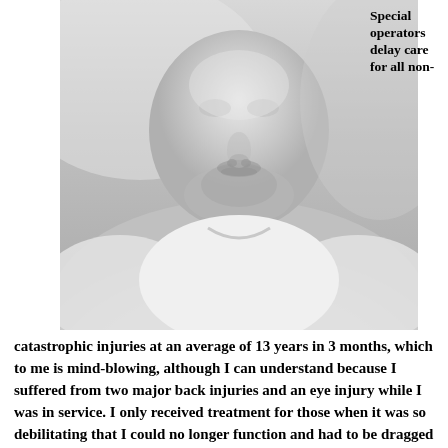[Figure (photo): Black and white close-up portrait photo of a middle-aged man in a white t-shirt, looking slightly downward. Only his neck, chin with stubble, and upper torso are fully visible.]
Special operators delay care for all non-
catastrophic injuries at an average of 13 years in 3 months, which to me is mind-blowing, although I can understand because I suffered from two major back injuries and an eye injury while I was in service. I only received treatment for those when it was so debilitating that I could no longer function and had to be dragged in there to seek treatment. A twenty-year veteran of Special